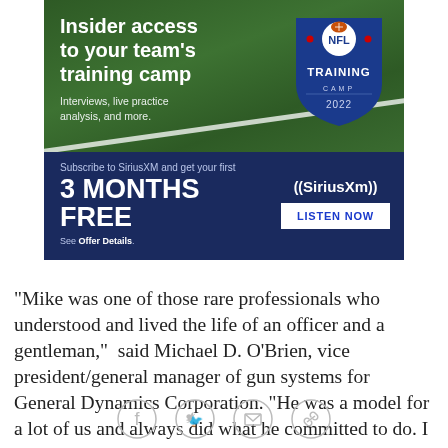[Figure (infographic): SiriusXM NFL Training Camp 2022 advertisement banner. Top half has green football field background with text 'Insider access to your team's training camp' and 'Interviews, live practice analysis, and more.' with NFL Training Camp 2022 shield logo. Bottom half is dark navy blue with 'Subscribe to SiriusXM and get your first 3 MONTHS FREE' text, SiriusXM logo, and 'LISTEN NOW' button.]
"Mike was one of those rare professionals who understood and lived the life of an officer and a gentleman,"  said Michael D. O'Brien, vice president/general manager of gun systems for General Dynamics Corporation. "He was a model for a lot of us and always did what he committed to do. I believe
[Figure (infographic): Social media share icons row: Facebook, Twitter, Email/envelope, and link/chain icons in gray circle outlines.]